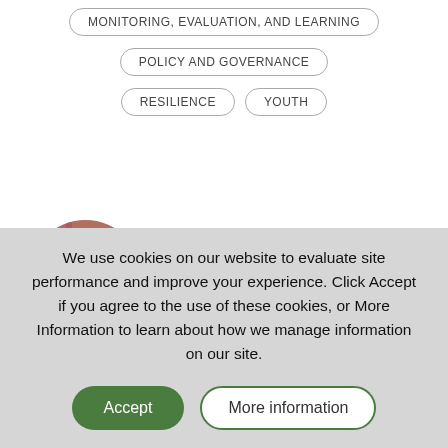MONITORING, EVALUATION, AND LEARNING
POLICY AND GOVERNANCE
RESILIENCE
YOUTH
Ekanikpong Ben
Nigeria | Joined July 25, 2019
We use cookies on our website to evaluate site performance and improve your experience. Click Accept if you agree to the use of these cookies, or More Information to learn about how we manage information on our site.